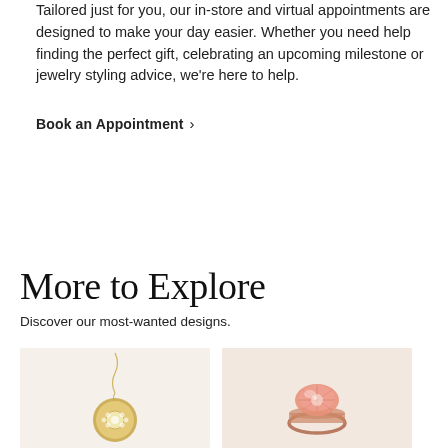Tailored just for you, our in-store and virtual appointments are designed to make your day easier. Whether you need help finding the perfect gift, celebrating an upcoming milestone or jewelry styling advice, we're here to help.
Book an Appointment ›
More to Explore
Discover our most-wanted designs.
[Figure (photo): Gold necklace with diamond pendant on white background]
[Figure (photo): Pink gemstone ring on white background]